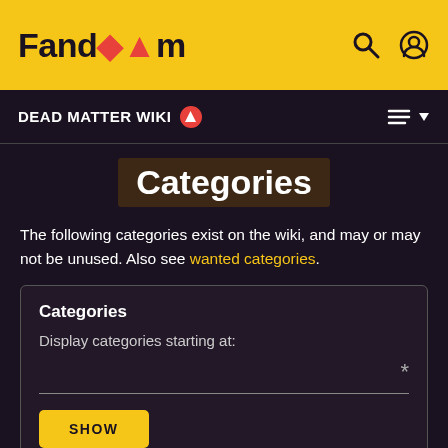Fandom
DEAD MATTER WIKI
Categories
The following categories exist on the wiki, and may or may not be unused. Also see wanted categories.
Categories
Display categories starting at:
SHOW
Ammo (4 members)